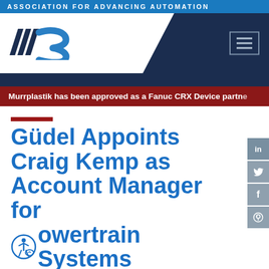ASSOCIATION FOR ADVANCING AUTOMATION
[Figure (logo): A3 Association for Advancing Automation logo with stylized triple-slash and blue 3, plus hamburger navigation menu icon]
Murrplastik has been approved as a Fanuc CRX Device partner
Güdel Appoints Craig Kemp as Account Manager for Powertrain Systems